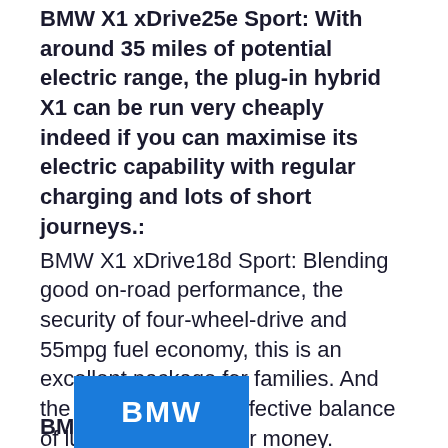BMW X1 xDrive25e Sport: With around 35 miles of potential electric range, the plug-in hybrid X1 can be run very cheaply indeed if you can maximise its electric capability with regular charging and lots of short journeys.:
BMW X1 xDrive18d Sport: Blending good on-road performance, the security of four-wheel-drive and 55mpg fuel economy, this is an excellent package for families. And the Sport trim is an effective balance of luxury and value for money.
[Figure (logo): BMW logo box with blue background and white BMW text]